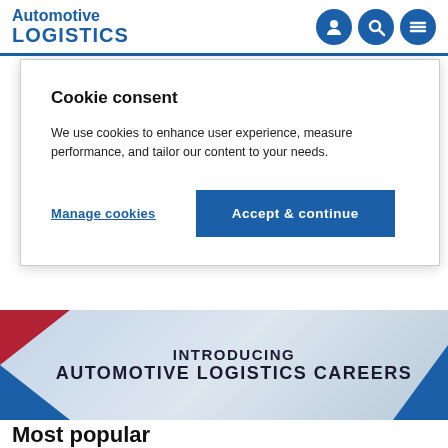Automotive LOGISTICS
Cookie consent
We use cookies to enhance user experience, measure performance, and tailor our content to your needs.
Manage cookies
Accept & continue
[Figure (photo): Banner image with text: INTRODUCING AUTOMOTIVE LOGISTICS CAREERS, with red and blue triangular graphic elements on left and right sides, and a faded background photo of logistics/warehouse scene]
Most popular